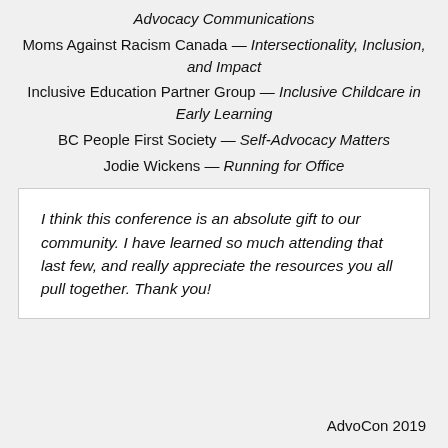Advocacy Communications
Moms Against Racism Canada — Intersectionality, Inclusion, and Impact
Inclusive Education Partner Group — Inclusive Childcare in Early Learning
BC People First Society — Self-Advocacy Matters
Jodie Wickens — Running for Office
I think this conference is an absolute gift to our community. I have learned so much attending that last few, and really appreciate the resources you all pull together. Thank you!
AdvoCon 2019